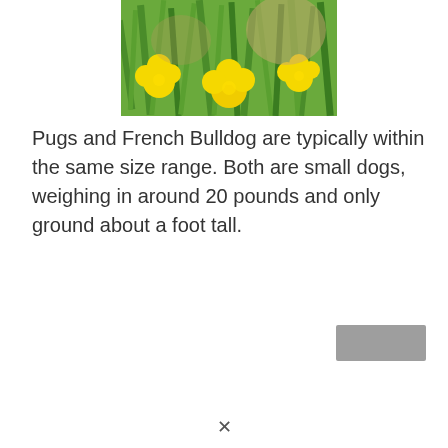[Figure (photo): Photo of yellow dandelion flowers and green grass/plants outdoors]
Pugs and French Bulldog are typically within the same size range. Both are small dogs, weighing in around 20 pounds and only ground about a foot tall.